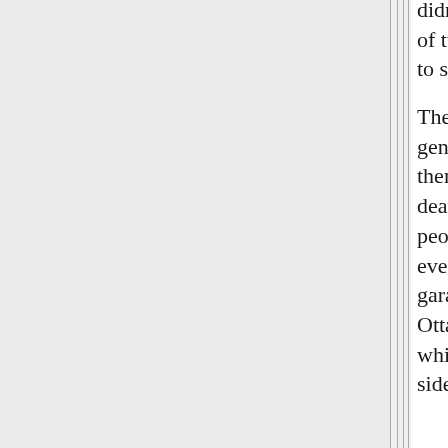didn't work, so he lasted a total of two days and then pulled out to stay with us in the city.

There was a huge run on diesel generators. Lots of people used them, and we had quite a few deaths from CO poisoning - people ran the generators and even charcoal BBQs in their garages. A friend in downtown Ottawa had his power go out while the power on the other side of the street